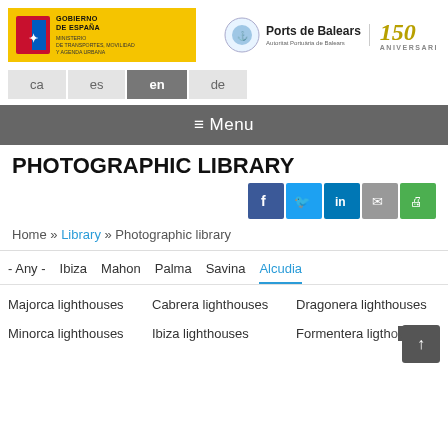[Figure (logo): Gobierno de España / Ministerio de Transportes, Movilidad y Agenda Urbana logo on yellow background]
[Figure (logo): Ports de Balears logo with emblem and 150 Aniversari text]
ca  es  en  de
≡ Menu
PHOTOGRAPHIC LIBRARY
[Figure (infographic): Social media sharing icons: Facebook, Twitter, LinkedIn, Email, Print]
Home » Library » Photographic library
- Any -
Ibiza
Mahon
Palma
Savina
Alcudia
Majorca lighthouses
Cabrera lighthouses
Dragonera lighthouses
Minorca lighthouses
Ibiza lighthouses
Formentera lighthouses